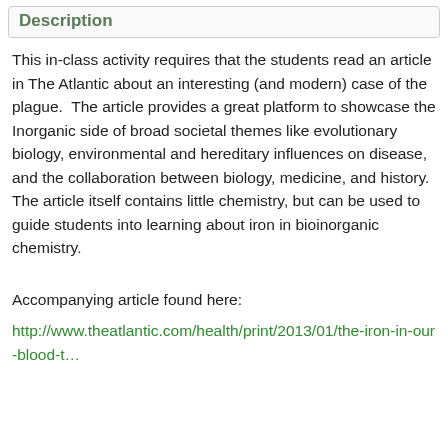Description
This in-class activity requires that the students read an article in The Atlantic about an interesting (and modern) case of the plague.  The article provides a great platform to showcase the Inorganic side of broad societal themes like evolutionary biology, environmental and hereditary influences on disease, and the collaboration between biology, medicine, and history.  The article itself contains little chemistry, but can be used to guide students into learning about iron in bioinorganic chemistry.
Accompanying article found here:
http://www.theatlantic.com/health/print/2013/01/the-iron-in-our-blood-t…